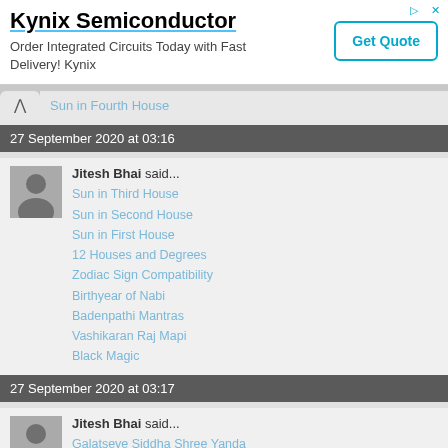[Figure (other): Kynix Semiconductor advertisement banner with title, subtitle, and Get Quote button]
Sun in Fourth House
27 September 2020 at 03:16
Jitesh Bhai said...
Sun in Third House
Sun in Second House
Sun in First House
12 Houses and Degrees
Zodiac Sign Compatibility
Birthyear of Nabi
Badenpathi Mantras
Vashikaran Raj Mapi
Black Magic
27 September 2020 at 03:17
Jitesh Bhai said...
Galatseye Siddha Shree Yanda